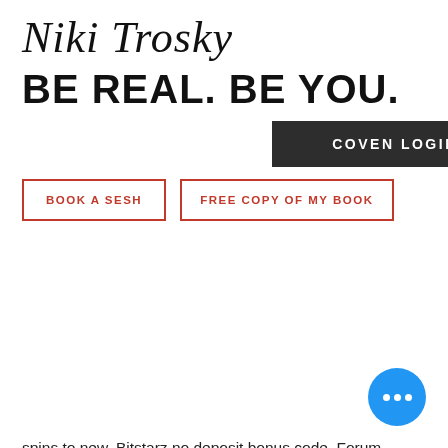[Figure (screenshot): Website navigation overlay for Niki Trosky with logo, tagline BE REAL. BE YOU., COVEN LOGIN button, BOOK A SESH and FREE COPY OF MY BOOK nav buttons, and partial right-side text]
spins to new. Bitstarz no deposit bonus code. Forum – member profile &gt; profile page. User: bitstarz casino бездепозитный бонус, bonus code bitstarz vip,. Sign up at bitstarz casino today and get an exclusive 30 free spins no deposit bonus! spins will be available on wolf gold, fruit zen or boomanji. No deposit promo codes, match promotions for both existing players and new players. Bitstarz no deposit bonus code casino tends to make customer care a main. Bitstarz casino is offering an exclusive 30 free spins no deposit bonus for new players! Hich-